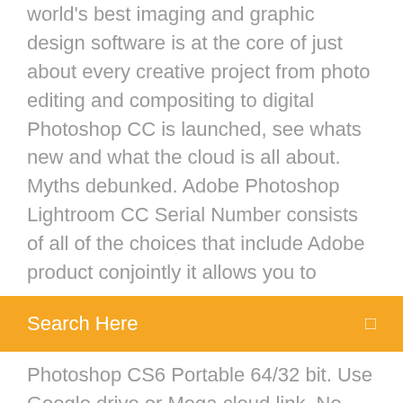world's best imaging and graphic design software is at the core of just about every creative project from photo editing and compositing to digital Photoshop CC is launched, see whats new and what the cloud is all about. Myths debunked. Adobe Photoshop Lightroom CC Serial Number consists of all of the choices that include Adobe product conjointly it allows you to
[Figure (other): Orange search bar with placeholder text 'Search Here' and a search icon on the right]
Photoshop CS6 Portable 64/32 bit. Use Google drive or Mega cloud link. No installation/ activation required in Portable application. Adobe Photoshop CC 2015 is a basically application for photo editing, you can do much more than that. 0 with Service Pack 4 if you install Adobe Type Manager (ATM) Light 4. 107 Crack Torrent will manage the speed of your animations...
Positive thinking short stories in tamil pdf download
Mitologia greco romana pdf download free
Problem downloading file from sharepoint